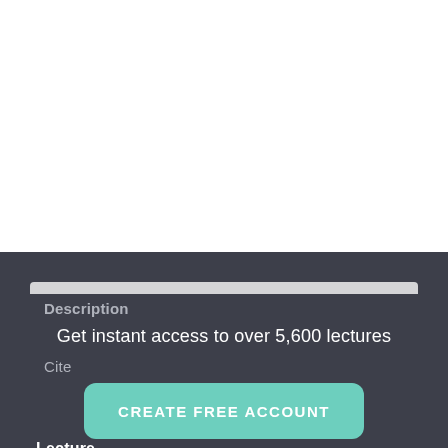[Figure (screenshot): White blank upper area of a webpage screenshot]
Description
Get instant access to over 5,600 lectures
Cite
CREATE FREE ACCOUNT
Lecture